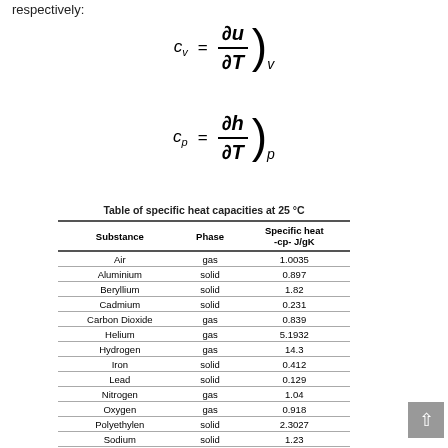respectively:
Table of specific heat capacities at 25 °C
| Substance | Phase | Specific heat -cp- J/gK |
| --- | --- | --- |
| Air | gas | 1.0035 |
| Aluminium | solid | 0.897 |
| Beryllium | solid | 1.82 |
| Cadmium | solid | 0.231 |
| Carbon Dioxide | gas | 0.839 |
| Helium | gas | 5.1932 |
| Hydrogen | gas | 14.3 |
| Iron | solid | 0.412 |
| Lead | solid | 0.129 |
| Nitrogen | gas | 1.04 |
| Oxygen | gas | 0.918 |
| Polyethylen | solid | 2.3027 |
| Sodium | solid | 1.23 |
| Steel | solid | 0.466 |